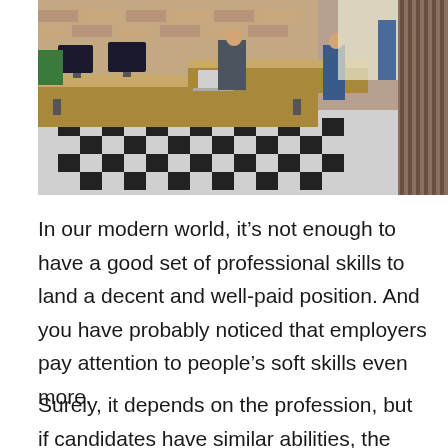[Figure (photo): Office workspace photo showing people working at long wooden tables with computers in a modern open-plan office with brick walls, black and white checkered floor, and large windows.]
In our modern world, it’s not enough to have a good set of professional skills to land a decent and well-paid position. And you have probably noticed that employers pay attention to people’s soft skills even more.
Surely, it depends on the profession, but if candidates have similar abilities, the only thing